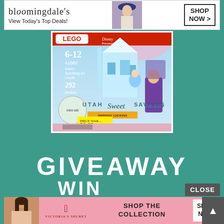[Figure (screenshot): Screenshot of a blog/website page showing a LEGO Disney Frozen Elsa's Sparkling Ice Castle set (41062, 292 pieces, age 6-12) with price tag $39.99, overlaid with 'UTAH Sweet SAVINGS' watermark. The page has a teal background.]
[Figure (screenshot): Bloomingdale's banner advertisement: logo, 'View Today's Top Deals!', model with hat, and 'SHOP NOW >' button]
GIVEAWAY
WIN
CLOSE
[Figure (screenshot): Victoria's Secret banner advertisement: model photo, VS logo, 'SHOP THE COLLECTION' text, 'SHOP NOW' button, and scroll-to-top arrow button]